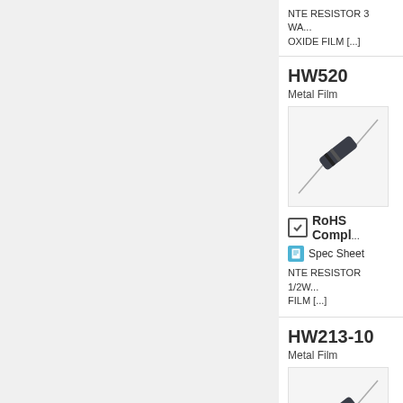NTE RESISTOR 3 WA... OXIDE FILM [...]
HW520
Metal Film
[Figure (photo): Metal film resistor component shown diagonally]
RoHS Compl...
Spec Sheet
NTE RESISTOR 1/2W... FILM [...]
HW213-10
Metal Film
[Figure (photo): Metal film resistor component shown diagonally]
RoHS Compl...
Spec Sheet